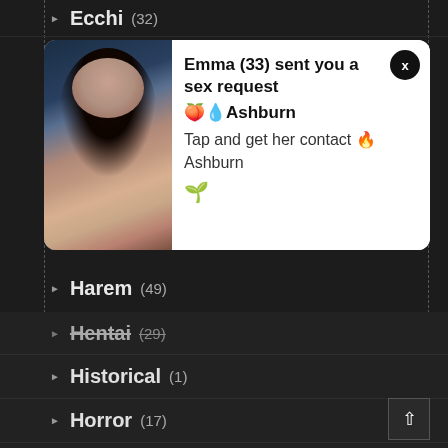Ecchi (32)
[Figure (screenshot): Ad popup notification showing a woman's photo and text: Emma (33) sent you a sex request 🍑💧Ashburn Tap and get her contact 🔥Ashburn 🌱]
Harem (49)
Hentai (29)
Historical (1)
Horror (17)
Isekai (2)
Japanese (7)
Josei (5)
Manga (117)
Manga hentai (18)